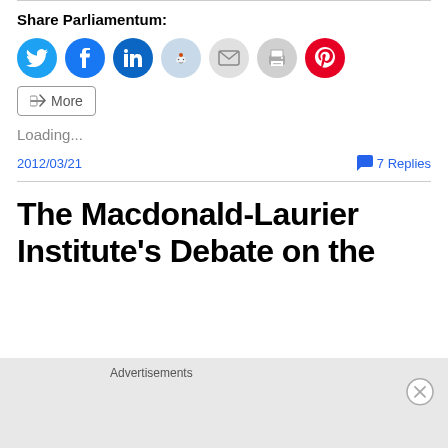Share Parliamentum:
[Figure (infographic): Row of social sharing buttons: Twitter (blue circle), Facebook (blue circle), LinkedIn (dark blue circle), Reddit (light blue circle), Email (light gray circle), Print (gray circle), Pinterest (red circle), and a More button with share icon]
Loading...
2012/03/21    7 Replies
The Macdonald-Laurier Institute’s Debate on the
Advertisements